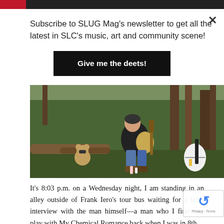Subscribe to SLUG Mag's newsletter to get all the latest in SLC's music, art and community scene!
Give me the deets!
[Figure (photo): A young person in a leather jacket and torn jeans sits on a log in a wooded outdoor area, playing an acoustic guitar. A stuffed bear with sunglasses sits to the left. Additional guitars and objects are scattered nearby.]
It's 8:03 p.m. on a Wednesday night, I am standing in an alley outside of Frank Iero's tour bus waiting for a brief interview with the man himself—a man who I first saw play with My Chemical Romance back when I was in 8th